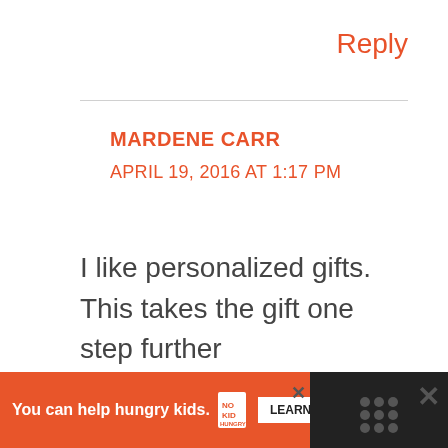Reply
MARDENE CARR
APRIL 19, 2016 AT 1:17 PM
I like personalized gifts. This takes the gift one step further
Reply
[Figure (screenshot): Share button icon (circle with share symbol)]
[Figure (infographic): Advertisement banner: 'You can help hungry kids.' with No Kid Hungry logo and Learn How button on orange background, dark section with X and dots icon on right]